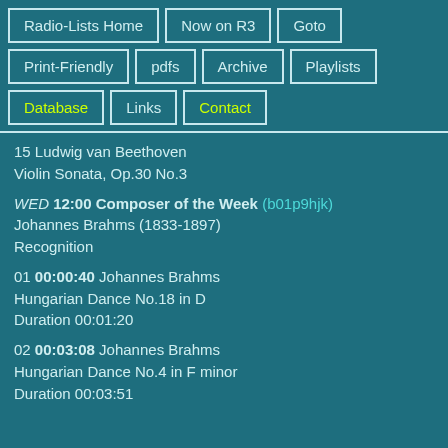Radio-Lists Home
Now on R3
Goto
Print-Friendly
pdfs
Archive
Playlists
Database
Links
Contact
15 Ludwig van Beethoven
Violin Sonata, Op.30 No.3
WED 12:00 Composer of the Week (b01p9hjk)
Johannes Brahms (1833-1897)
Recognition
01 00:00:40 Johannes Brahms
Hungarian Dance No.18 in D
Duration 00:01:20
02 00:03:08 Johannes Brahms
Hungarian Dance No.4 in F minor
Duration 00:03:51